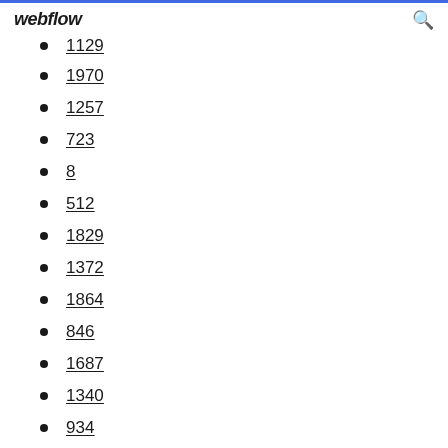webflow
1129
1970
1257
723
8
512
1829
1372
1864
846
1687
1340
934